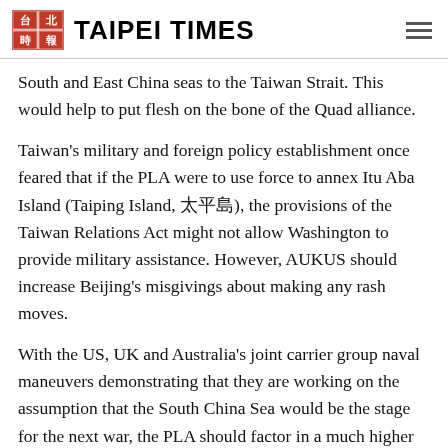TAIPEI TIMES
South and East China seas to the Taiwan Strait. This would help to put flesh on the bone of the Quad alliance.
Taiwan's military and foreign policy establishment once feared that if the PLA were to use force to annex Itu Aba Island (Taiping Island, 太平島), the provisions of the Taiwan Relations Act might not allow Washington to provide military assistance. However, AUKUS should increase Beijing's misgivings about making any rash moves.
With the US, UK and Australia's joint carrier group naval maneuvers demonstrating that they are working on the assumption that the South China Sea would be the stage for the next war, the PLA should factor in a much higher strategic cost for any military adventurism.
Ou Wei-chun is the chief legal officer of a private